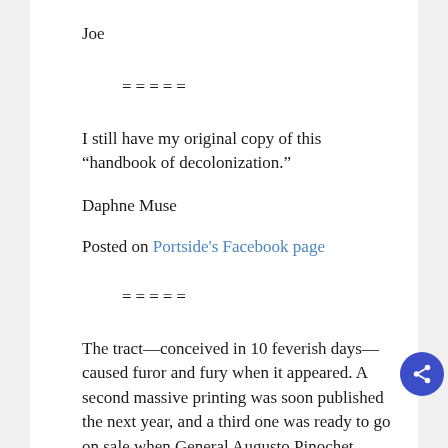Joe
=====
I still have my original copy of this “handbook of decolonization.”
Daphne Muse
Posted on Portside's Facebook page
=====
The tract—conceived in 10 feverish days—caused furor and fury when it appeared. A second massive printing was soon published the next year, and a third one was ready to go on sale when General Augusto Pinochet overthrew Allende in September 1973, and all those copies were cast into the bay of Valparaíso. First water, then fire. Forty years after the Nazis had incinerated so many “degenerate” volumes, it was Chile’s turn. Days after the coup, in a safe house where I was hiding, I saw